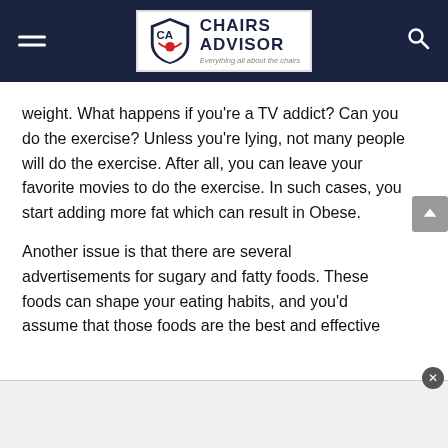Chairs Advisor — Everything all about the chairs
weight. What happens if you’re a TV addict? Can you do the exercise? Unless you’re lying, not many people will do the exercise. After all, you can leave your favorite movies to do the exercise. In such cases, you start adding more fat which can result in Obese.
Another issue is that there are several advertisements for sugary and fatty foods. These foods can shape your eating habits, and you’d assume that those foods are the best and effective